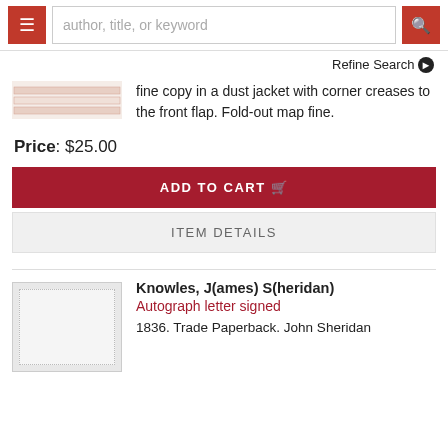[Figure (screenshot): Website navigation bar with hamburger menu button, search field with placeholder 'author, title, or keyword', and red search button]
Refine Search ❯
[Figure (photo): Small thumbnail image of a book with horizontal stripes on cover]
fine copy in a dust jacket with corner creases to the front flap. Fold-out map fine.
Price: $25.00
ADD TO CART
ITEM DETAILS
[Figure (photo): Small thumbnail placeholder image with dotted border frame]
Knowles, J(ames) S(heridan)
Autograph letter signed
1836. Trade Paperback. John Sheridan